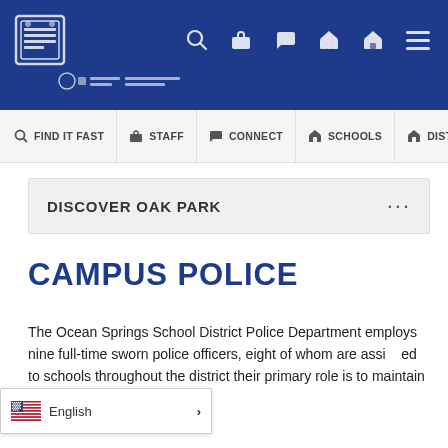Navigation bar with logo, search, staff, connect, schools, district icons
DISCOVER OAK PARK
CAMPUS POLICE
The Ocean Springs School District Police Department employs nine full-time sworn police officers, eight of whom are assigned to schools throughout the district their primary role is to maintain order
English